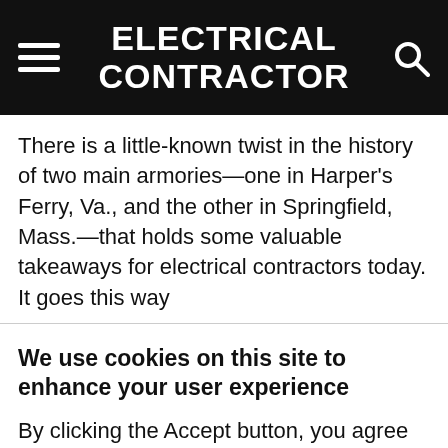ELECTRICAL CONTRACTOR
There is a little-known twist in the history of two main armories—one in Harper's Ferry, Va., and the other in Springfield, Mass.—that holds some valuable takeaways for electrical contractors today. It goes this way
We use cookies on this site to enhance your user experience
By clicking the Accept button, you agree to us doing so.
Accept   No, thanks